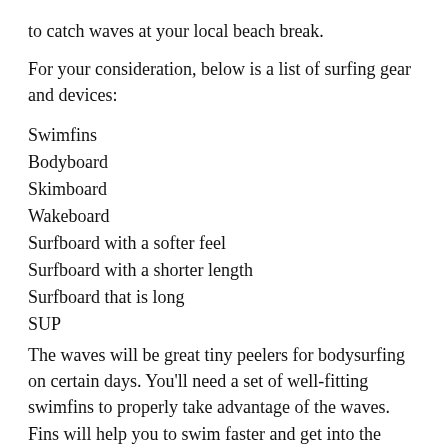to catch waves at your local beach break.
For your consideration, below is a list of surfing gear and devices:
Swimfins
Bodyboard
Skimboard
Wakeboard
Surfboard with a softer feel
Surfboard with a shorter length
Surfboard that is long
SUP
The waves will be great tiny peelers for bodysurfing on certain days. You'll need a set of well-fitting swimfins to properly take advantage of the waves. Fins will help you to swim faster and get into the wave earlier, allowing you to ride the wave's shoulder like board surfers and boogie board riders.